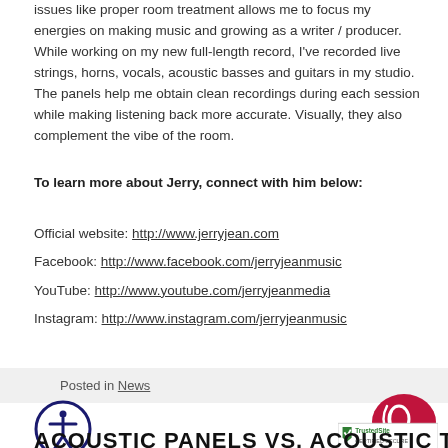issues like proper room treatment allows me to focus my energies on making music and growing as a writer / producer. While working on my new full-length record, I've recorded live strings, horns, vocals, acoustic basses and guitars in my studio. The panels help me obtain clean recordings during each session while making listening back more accurate. Visually, they also complement the vibe of the room.
To learn more about Jerry, connect with him below:
Official website: http://www.jerryjean.com
Facebook: http://www.facebook.com/jerryjeanmusic
YouTube: http://www.youtube.com/jerryjeanmedia
Instagram: http://www.instagram.com/jerryjeanmusic
Posted in News
[Figure (illustration): Accessibility icon - person in circle]
[Figure (logo): Listen button icon - ear with sound waves in pink speech bubble]
[Figure (logo): TrustedSite badge]
ACOUSTIC PANELS VS. ACOUSTIC T...